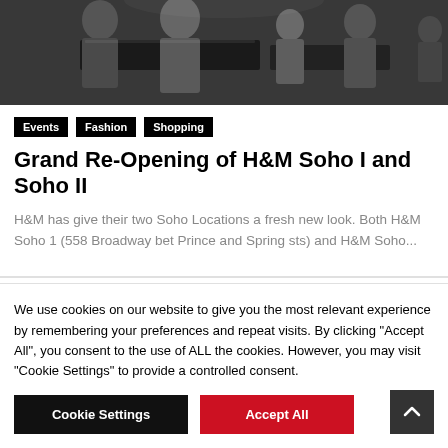[Figure (photo): Store interior photo showing a crowd of shoppers at what appears to be an H&M retail store, dark/dim lighting]
Events
Fashion
Shopping
Grand Re-Opening of H&M Soho I and Soho II
H&M has give their two Soho Locations a fresh new look. Both H&M Soho 1 (558 Broadway bet Prince and Spring sts) and H&M Soho...
We use cookies on our website to give you the most relevant experience by remembering your preferences and repeat visits. By clicking "Accept All", you consent to the use of ALL the cookies. However, you may visit "Cookie Settings" to provide a controlled consent.